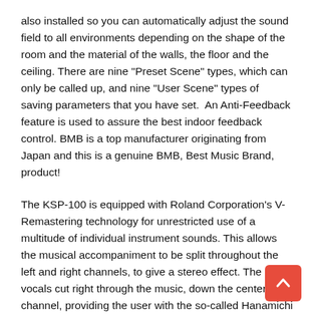also installed so you can automatically adjust the sound field to all environments depending on the shape of the room and the material of the walls, the floor and the ceiling. There are nine "Preset Scene" types, which can only be called up, and nine "User Scene" types of saving parameters that you have set.  An Anti-Feedback feature is used to assure the best indoor feedback control. BMB is a top manufacturer originating from Japan and this is a genuine BMB, Best Music Brand, product!
The KSP-100 is equipped with Roland Corporation's V-Remastering technology for unrestricted use of a multitude of individual instrument sounds. This allows the musical accompaniment to be split throughout the left and right channels, to give a stereo effect. The vocals cut right through the music, down the center channel, providing the user with the so-called Hanamichi effect, which optimizes the ease of singing. This makes it easier to hear the vocals, and makes it easier for the singer to perform. These settings can be stored as a "scene" and